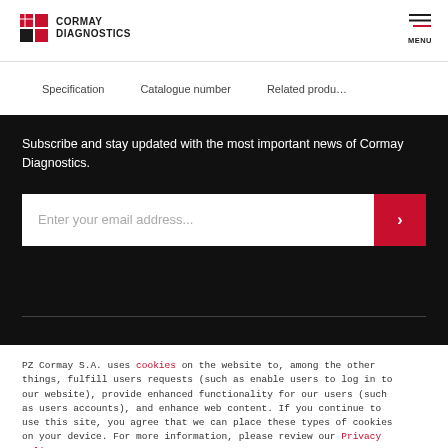CORMAY DIAGNOSTICS | MENU
Specification   Catalogue number   Related produ...
Subscribe and stay updated with the most important news of Cormay Diagnostics.
Enter your email address...
PZ Cormay S.A. uses cookies on the website to, among the other things, fulfill users requests (such as enable users to log in to our website), provide enhanced functionality for our users (such as users accounts), and enhance web content. If you continue to use this site, you agree that we can place these types of cookies on your device. For more information, please review our Privacy Policy.